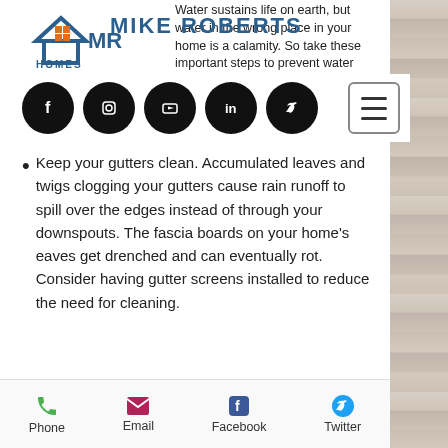[Figure (logo): Mike Roberts Homes logo with house icon and text MIKE ROBERTS HOMES]
Water sustains life on earth, but water in the wrong place in your home is a calamity. So take these important steps to prevent water from penetrating your h
[Figure (other): Social media icons: Facebook, Instagram, YouTube/Reddit, LinkedIn, Twitter, and hamburger menu button]
Keep your gutters clean. Accumulated leaves and twigs clogging your gutters cause rain runoff to spill over the edges instead of through your downspouts. The fascia boards on your home's eaves get drenched and can eventually rot. Consider having gutter screens installed to reduce the need for cleaning.
Phone   Email   Facebook   Twitter